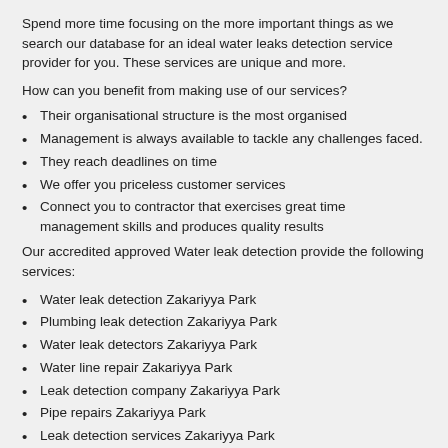Spend more time focusing on the more important things as we search our database for an ideal water leaks detection service provider for you. These services are unique and more.
How can you benefit from making use of our services?
Their organisational structure is the most organised
Management is always available to tackle any challenges faced.
They reach deadlines on time
We offer you priceless customer services
Connect you to contractor that exercises great time management skills and produces quality results
Our accredited approved Water leak detection provide the following services:
Water leak detection Zakariyya Park
Plumbing leak detection Zakariyya Park
Water leak detectors Zakariyya Park
Water line repair Zakariyya Park
Leak detection company Zakariyya Park
Pipe repairs Zakariyya Park
Leak detection services Zakariyya Park
Toilet repairs Zakariyya Park
Toilet installer Zakariyya Park
Water leak detection specialists Zakariyya Park
Water leaks detection Zakariyya Park
Slab leak repair Zakariyya Park